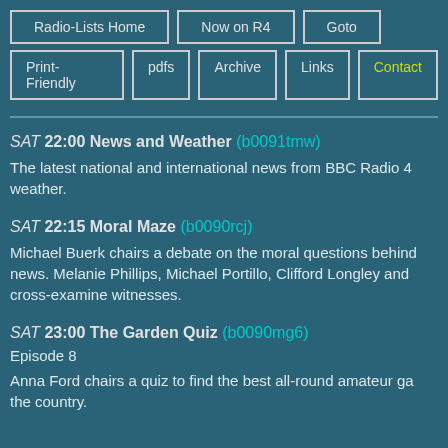Radio-Lists Home
Now on R4
Goto
Print-Friendly
pdfs
Archive
Links
Contact
SAT 22:00 News and Weather (b0091tmw)
The latest national and international news from BBC Radio 4 weather.
SAT 22:15 Moral Maze (b0090rcj)
Michael Buerk chairs a debate on the moral questions behind news. Melanie Phillips, Michael Portillo, Clifford Longley and cross-examine witnesses.
SAT 23:00 The Garden Quiz (b0090mg6)
Episode 8

Anna Ford chairs a quiz to find the best all-round amateur ga the country.